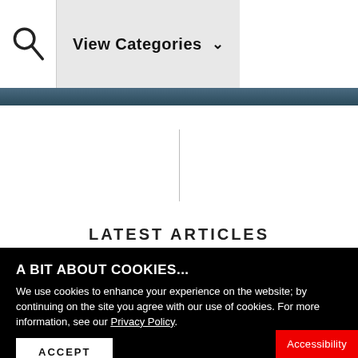View Categories
LATEST ARTICLES
A BIT ABOUT COOKIES...
We use cookies to enhance your experience on the website; by continuing on the site you agree with our use of cookies. For more information, see our Privacy Policy.
ACCEPT
Accessibility